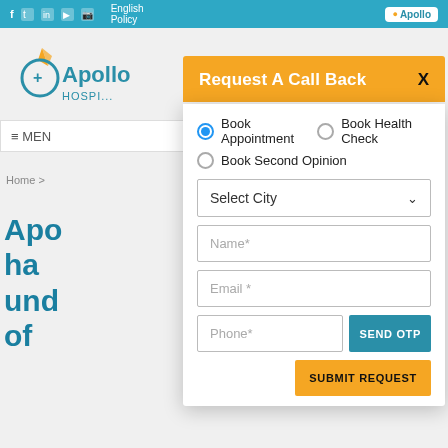f  Twitter  in  YouTube  Instagram  English Policy  Apollo
[Figure (logo): Apollo Hospitals logo with teal color and flame icon]
≡ MEN...
Home >
Apo... ha... und... of...
Request A Call Back
Book Appointment  Book Health Check  Book Second Opinion
Select City
Name*
Email*
Phone*
SEND OTP
SUBMIT REQUEST